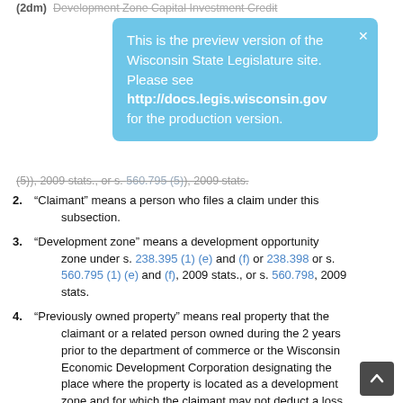(2dm) Development Zone Capital Investment Credit
This is the preview version of the Wisconsin State Legislature site. Please see http://docs.legis.wisconsin.gov for the production version.
(5)), 2009 stats., or s. 560.795 (5)), 2009 stats.
2. "Claimant" means a person who files a claim under this subsection.
3. "Development zone" means a development opportunity zone under s. 238.395 (1) (e) and (f) or 238.398 or s. 560.795 (1) (e) and (f), 2009 stats., or s. 560.798, 2009 stats.
4. "Previously owned property" means real property that the claimant or a related person owned during the 2 years prior to the department of commerce or the Wisconsin Economic Development Corporation designating the place where the property is located as a development zone and for which the claimant may not deduct a loss from the sale of the property to, or an exchange of the property with, the related person under section 267 of the Internal Revenue Code, except that section 267 (b) of the Internal Revenue Code is modified so that if the claimant owns any part of the property, rather than 50 percent ownership, the claimant is subject to section 267 (a) of the Internal Revenue Code for purposes of this